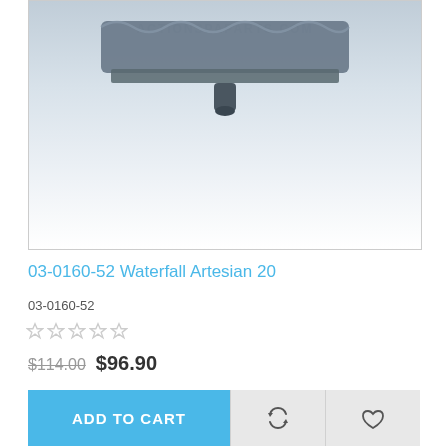[Figure (photo): Product photo of waterfall spa part (03-0160-52 Waterfall Artesian 20) shown on white background with ACTIONSPAPARTS.COM watermark. Item appears as a rectangular dark gray/blue tray-like component with wavy design on top edge and a small stem/connector at bottom center.]
03-0160-52 Waterfall Artesian 20
03-0160-52
☆☆☆☆☆
$114.00  $96.90
ADD TO CART